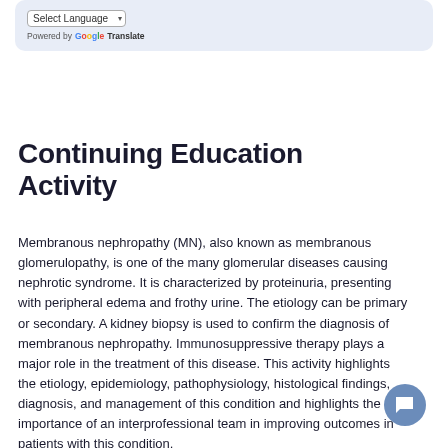[Figure (screenshot): Google Translate widget with 'Select Language' dropdown and 'Powered by Google Translate' text on a light blue background]
Continuing Education Activity
Membranous nephropathy (MN), also known as membranous glomerulopathy, is one of the many glomerular diseases causing nephrotic syndrome. It is characterized by proteinuria, presenting with peripheral edema and frothy urine. The etiology can be primary or secondary. A kidney biopsy is used to confirm the diagnosis of membranous nephropathy. Immunosuppressive therapy plays a major role in the treatment of this disease. This activity highlights the etiology, epidemiology, pathophysiology, histological findings, diagnosis, and management of this condition and highlights the importance of an interprofessional team in improving outcomes in patients with this condition.